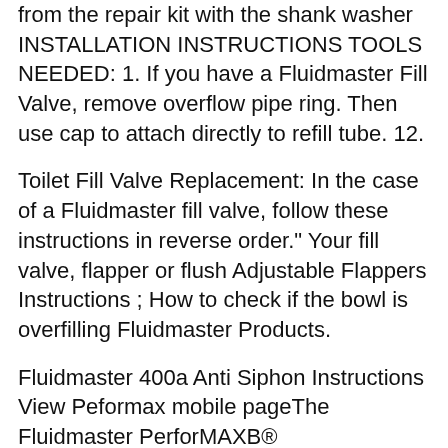from the repair kit with the shank washer INSTALLATION INSTRUCTIONS TOOLS NEEDED: 1. If you have a Fluidmaster Fill Valve, remove overflow pipe ring. Then use cap to attach directly to refill tube. 12.
Toilet Fill Valve Replacement: In the case of a Fluidmaster fill valve, follow these instructions in reverse order." Your fill valve, flapper or flush Adjustable Flappers Instructions ; How to check if the bowl is overfilling Fluidmaster Products.
Fluidmaster 400a Anti Siphon Instructions View Peformax mobile pageThe Fluidmaster PerforMAXB®